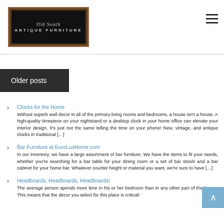[Figure (logo): Old South Antique Furniture logo — wooden frame with black inner panel showing 'Old South ANTIQUE FURNITURE' text in silver/grey]
Older posts
Clocks for the Home — Without superb wall decor in all of the primary living rooms and bedrooms, a house isn't a house. A high-quality timepiece on your nightstand or a desktop clock in your home office can elevate your interior design. It's just not the same telling the time on your phone! New, vintage, and antique clocks in traditional […]
Bar Furniture at EuroLuxHome.com — In our inventory, we have a large assortment of bar furniture. We have the items to fit your needs, whether you're searching for a bar table for your dining room or a set of bar stools and a bar cabinet for your home bar. Whatever counter height or material you want, we're sure to have […]
Headboards, Headboards, Headboards! — The average person spends more time in his or her bedroom than in any other part of the house. This means that the decor you select for this place is critical!